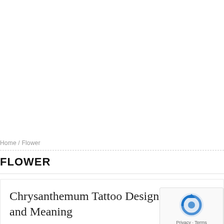Home / Flower
FLOWER
Chrysanthemum Tattoo Design: Symbo and Meaning